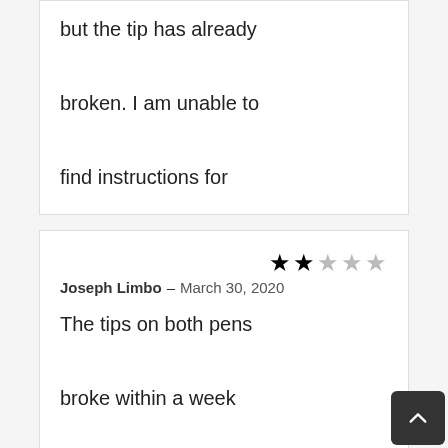but the tip has already broken. I am unable to find instructions for replacing the tip.
★★☆☆☆ Joseph Limbo – March 30, 2020
The tips on both pens broke within a week and cannot get any assistance trying to get